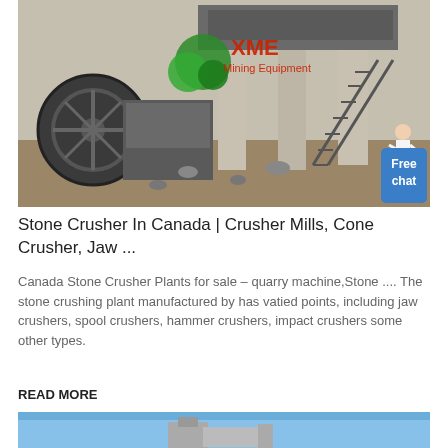[Figure (photo): Photograph of a stone crusher / mining equipment facility with large machinery, concrete pillars, and a metal staircase. XME Mining Equipment watermark visible. A person and 'Free chat' badge overlay in the bottom right corner.]
Stone Crusher In Canada | Crusher Mills, Cone Crusher, Jaw ...
Canada Stone Crusher Plants for sale – quarry machine,Stone .... The stone crushing plant manufactured by has vatied points, including jaw crushers, spool crushers, hammer crushers, impact crushers some other types.
READ MORE
[Figure (photo): Bottom portion of a second image showing industrial equipment against a blue sky background, partially visible.]